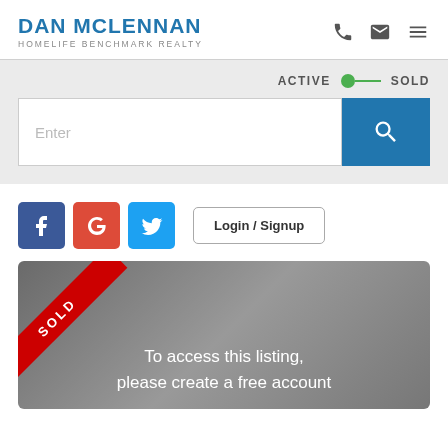DAN MCLENNAN
HOMELIFE BENCHMARK REALTY
[Figure (screenshot): Real estate agent website screenshot showing DAN MCLENNAN HOMELIFE BENCHMARK REALTY header with phone, email, and menu icons, a search bar with ACTIVE/SOLD toggle, social media login buttons (Facebook, Google, Twitter), a Login/Signup button, and a sold listing card with 'To access this listing, please create a free account' text.]
ACTIVE   SOLD
Enter
Login / Signup
SOLD
To access this listing, please create a free account